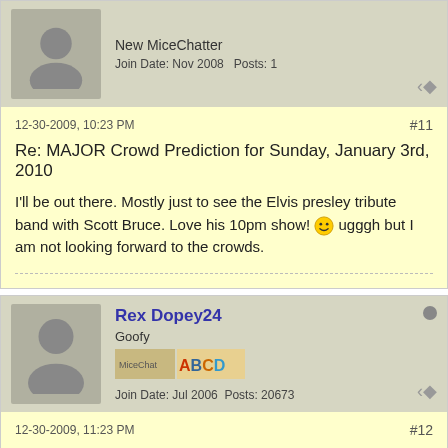New MiceChatter
Join Date: Nov 2008   Posts: 1
12-30-2009, 10:23 PM
#11
Re: MAJOR Crowd Prediction for Sunday, January 3rd, 2010
I'll be out there. Mostly just to see the Elvis presley tribute band with Scott Bruce. Love his 10pm show! 🙂 ugggh but I am not looking forward to the crowds.
Rex Dopey24
Goofy
Join Date: Jul 2006   Posts: 20673
12-30-2009, 11:23 PM
#12
Re: MAJOR Crowd Prediction for Sunday, January 3rd, 2010
Originally posted by MickeyMousePal